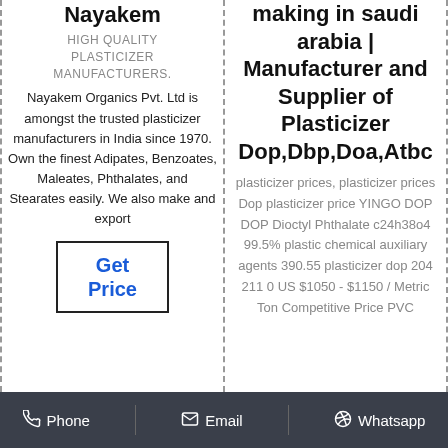Nayakem
HIGH QUALITY PLASTICIZER MANUFACTURERS. Nayakem Organics Pvt. Ltd is amongst the trusted plasticizer manufacturers in India since 1970. Own the finest Adipates, Benzoates, Maleates, Phthalates, and Stearates easily. We also make and export
Get Price
making in saudi arabia | Manufacturer and Supplier of Plasticizer Dop,Dbp,Doa,Atbc
plasticizer prices, plasticizer prices Dop plasticizer price YINGO DOP DOP Dioctyl Phthalate c24h38o4 99.5% plastic chemical auxiliary agents 390.55 plasticizer dop 204 211 0 US $1050 - $1150 / Metric Ton Competitive Price PVC
Phone   Email   Whatsapp